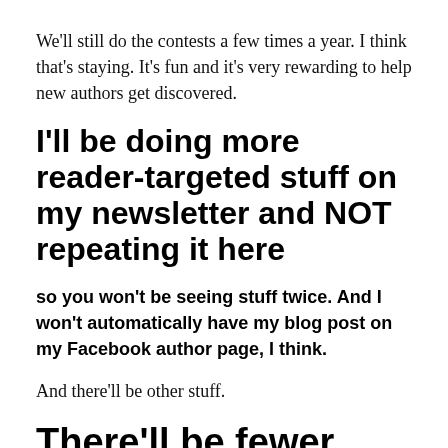We'll still do the contests a few times a year. I think that's staying. It's fun and it's very rewarding to help new authors get discovered.
I'll be doing more reader-targeted stuff on my newsletter and NOT repeating it here
so you won't be seeing stuff twice. And I won't automatically have my blog post on my Facebook author page, I think.
And there'll be other stuff.
There'll be fewer blog posts – one a week